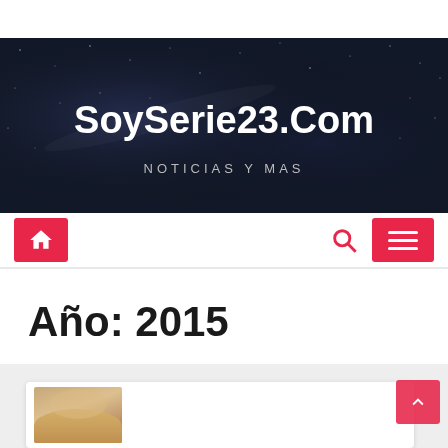[Figure (screenshot): Top white navigation bar, partially visible, cut off at top]
[Figure (illustration): Dark navy/space themed website banner with starfield background, site name SoySerie23.Com in bold white, subtitle NOTICIAS Y MAS in light grey spaced letters]
SoySerie23.Com
NOTICIAS Y MAS
[Figure (screenshot): Navigation bar with red home button icon on left, red search icon and red hamburger menu button on right]
Año: 2015
[Figure (photo): Partially visible card with a photo of a blonde person, pink scroll-to-top button in corner, on a light grey background]